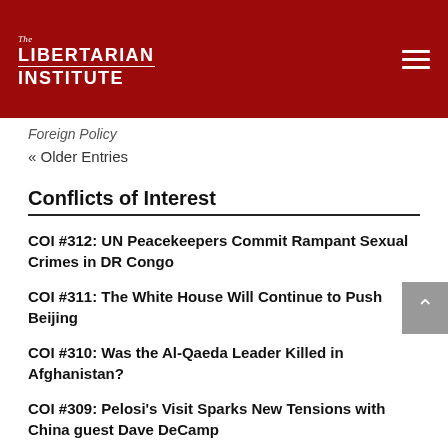The Libertarian Institute
Foreign Policy
« Older Entries
Conflicts of Interest
COI #312: UN Peacekeepers Commit Rampant Sexual Crimes in DR Congo
COI #311: The White House Will Continue to Push Beijing
COI #310: Was the Al-Qaeda Leader Killed in Afghanistan?
COI #309: Pelosi's Visit Sparks New Tensions with China guest Dave DeCamp
« Older Entries
Don't Tread on Anyone